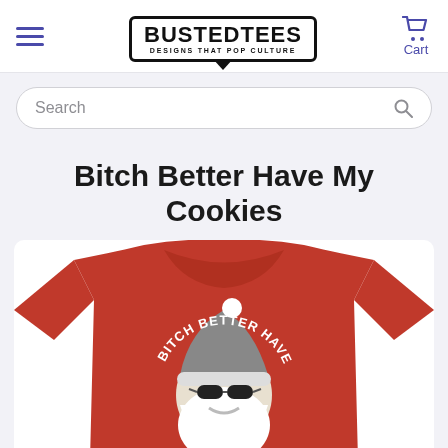BustedTees — DESIGNS THAT POP CULTURE
Search
Bitch Better Have My Cookies
[Figure (photo): Red t-shirt with a cool Santa Claus wearing sunglasses, text reading 'BITCH BETTER HAVE MY COOKIES' printed on it]